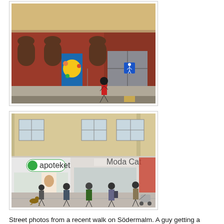[Figure (photo): Street photo of a red-brick corner building in Södermalm, Stockholm. The building has arched windows with colorful murals on the doors/walls. A person in a red jacket walks along a cobblestone sidewalk. There are street signs including a stop sign and a pedestrian crossing sign. The building has a yellow/beige upper section.]
[Figure (photo): Street-level photo of a commercial block in Södermalm. Ground floor shows an 'apoteket' (pharmacy) with green logo/signage on the left, and a shop called 'Moda Cat' in the center. Multiple pedestrians walk on the sidewalk including someone with a stroller. Upper floors are beige/tan apartment buildings with windows.]
Street photos from a recent walk on Södermalm. A guy getting a haircut at a barbershop at the Malmen hotel. Family business near a 7-Eleven at Kocksgatan. A colorful woman